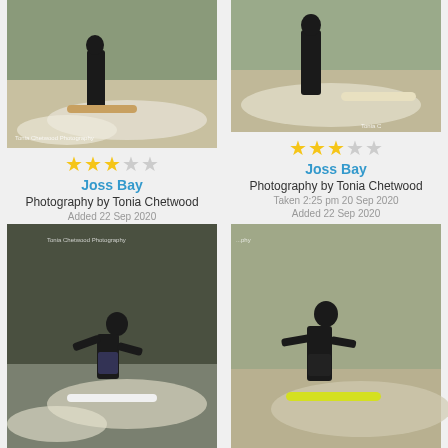[Figure (photo): Surfer in black wetsuit riding a wave with a longboard at Joss Bay, photography by Tonia Chetwood]
★★★☆☆
Joss Bay
Photography by Tonia Chetwood
Added 22 Sep 2020
[Figure (photo): Surfer in black wetsuit riding a wave on a longboard at Joss Bay, photography by Tonia Chetwood]
★★★☆☆
Joss Bay
Photography by Tonia Chetwood
Taken 2:25 pm 20 Sep 2020
Added 22 Sep 2020
[Figure (photo): Surfer in black wetsuit and shorts crouching on a surfboard riding a wave, Tonia Chetwood Photography]
[Figure (photo): Surfer in black wetsuit crouching low on a yellow surfboard riding a wave]